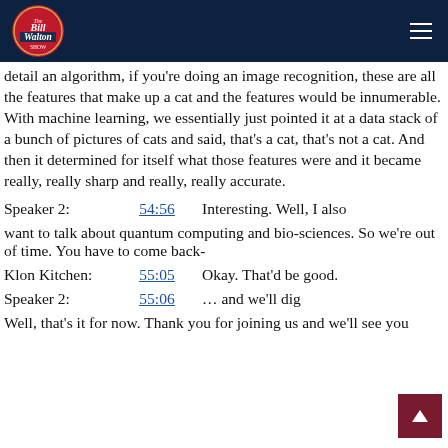The Bill Walton Show
detail an algorithm, if you're doing an image recognition, these are all the features that make up a cat and the features would be innumerable. With machine learning, we essentially just pointed it at a data stack of a bunch of pictures of cats and said, that's a cat, that's not a cat. And then it determined for itself what those features were and it became really, really sharp and really, really accurate.
Speaker 2: 54:56 Interesting. Well, I also want to talk about quantum computing and bio-sciences. So we're out of time. You have to come back-
Klon Kitchen: 55:05 Okay. That'd be good.
Speaker 2: 55:06 … and we'll dig Well, that's it for now. Thank you for joining us and we'll see you